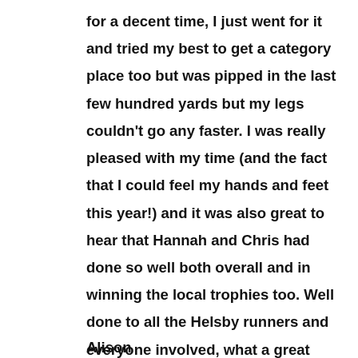for a decent time, I just went for it and tried my best to get a category place too but was pipped in the last few hundred yards but my legs couldn't go any faster. I was really pleased with my time (and the fact that I could feel my hands and feet this year!) and it was also great to hear that Hannah and Chris had done so well both overall and in winning the local trophies too. Well done to all the Helsby runners and everyone involved, what a great team effort which makes for a fantastic race. I may even do it all again next year!
Alison